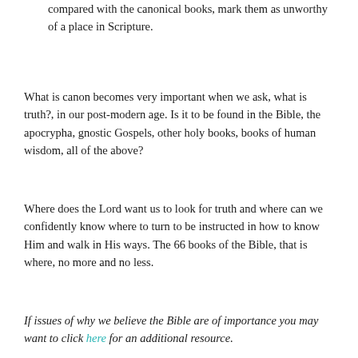compared with the canonical books, mark them as unworthy of a place in Scripture.
What is canon becomes very important when we ask, what is truth?, in our post-modern age. Is it to be found in the Bible, the apocrypha, gnostic Gospels, other holy books, books of human wisdom, all of the above?
Where does the Lord want us to look for truth and where can we confidently know where to turn to be instructed in how to know Him and walk in His ways. The 66 books of the Bible, that is where, no more and no less.
If issues of why we believe the Bible are of importance you may want to click here for an additional resource.